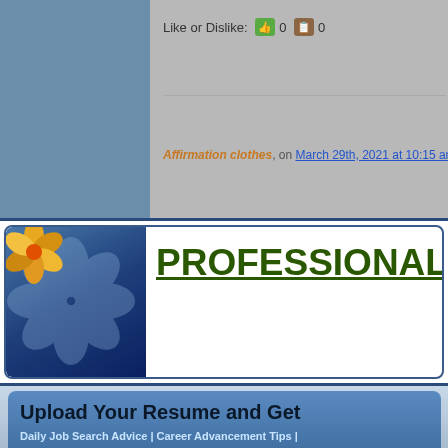Like or Dislike: 0 0
Affirmation clothes, on March 29th, 2021 at 10:15 am
PROFESSIONAL ADVI
Upload Your Resume and Get
Daily Job Search Advice | Career Advancement Tips | Informative Articles on Life Lessons And much more...
Email Address
Upload Resume    Choose File  No file chosen